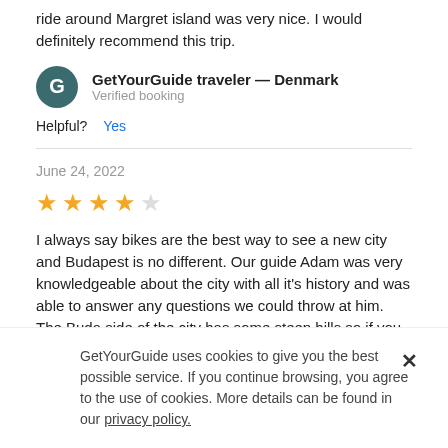ride around Margret island was very nice. I would definitely recommend this trip.
GetYourGuide traveler — Denmark
Verified booking
Helpful?  Yes
June 24, 2022
[Figure (other): Four and a half yellow star rating]
I always say bikes are the best way to see a new city and Budapest is no different. Our guide Adam was very knowledgeable about the city with all it's history and was able to answer any questions we could throw at him. The Buda side of the city has some steep hills so if you are unsure about your ability, go with the electric bike too
GetYourGuide traveler — United Kingdom
GetYourGuide uses cookies to give you the best possible service. If you continue browsing, you agree to the use of cookies. More details can be found in our privacy policy.